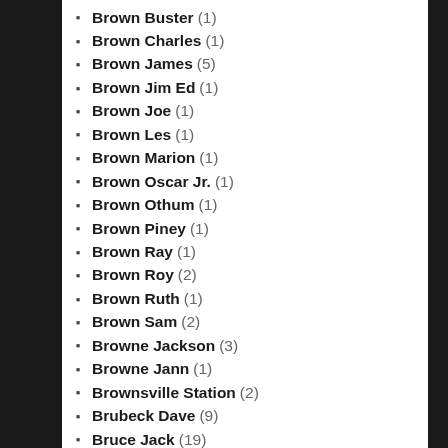Brown Buster (1)
Brown Charles (1)
Brown James (5)
Brown Jim Ed (1)
Brown Joe (1)
Brown Les (1)
Brown Marion (1)
Brown Oscar Jr. (1)
Brown Othum (1)
Brown Piney (1)
Brown Ray (1)
Brown Roy (2)
Brown Ruth (1)
Brown Sam (2)
Browne Jackson (3)
Browne Jann (1)
Brownsville Station (2)
Brubeck Dave (9)
Bruce Jack (19)
Bruch Max (1)
Bruford Bill (1)